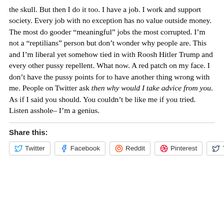the skull. But then I do it too. I have a job. I work and support society. Every job with no exception has no value outside money. The most do gooder “meaningful” jobs the most corrupted. I’m not a “reptilians” person but don’t wonder why people are. This and I’m liberal yet somehow tied in with Roosh Hitler Trump and every other pussy repellent. What now. A red patch on my face. I don’t have the pussy points for to have another thing wrong with me. People on Twitter ask then why would I take advice from you. As if I said you should. You couldn’t be like me if you tried. Listen asshole– I’m a genius.
Share this:
Twitter  Facebook  Reddit  Pinterest  Tumblr